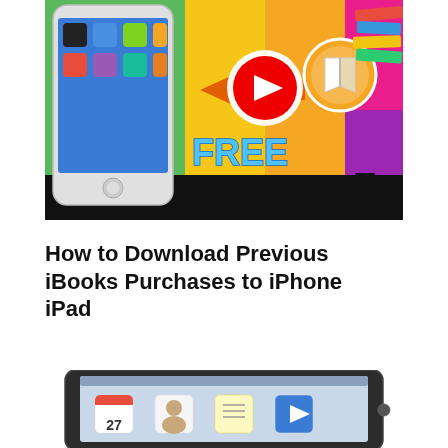[Figure (screenshot): YouTube video thumbnail showing an iPhone with an orange arrow pointing left toward a YouTube play button logo, and an iBooks icon on an orange/green background with the word FREE in blue letters, and stacked books partially visible on the right.]
How to Download Previous iBooks Purchases to iPhone iPad
[Figure (screenshot): Partial screenshot of an iPad device showing app icons including a calendar showing 27, contacts, notes, and video icons on a dark bezel device.]